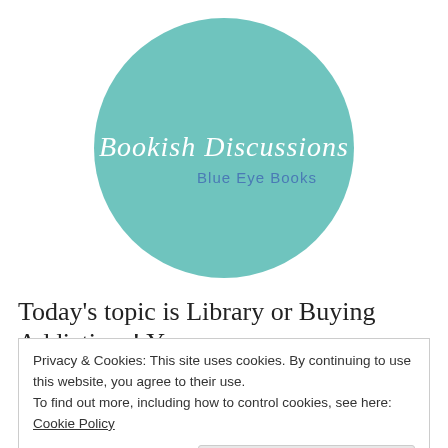[Figure (logo): Circular teal/mint colored logo with cursive text 'Bookish Discussions' and smaller blue text 'Blue Eye Books' below it]
Today's topic is Library or Buying Addictions!  You
Privacy & Cookies: This site uses cookies. By continuing to use this website, you agree to their use.
To find out more, including how to control cookies, see here: Cookie Policy
Close and accept